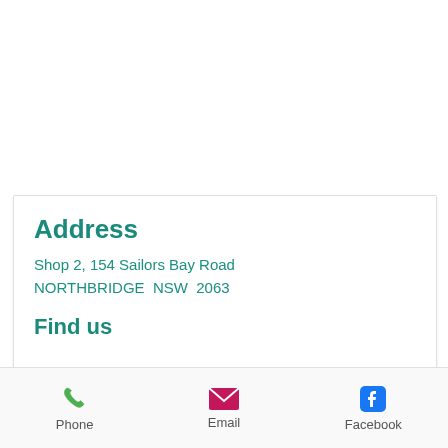Address
Shop 2, 154 Sailors Bay Road
NORTHBRIDGE  NSW  2063
Find us
[Figure (other): Up arrow button circle]
Phone   Email   Facebook